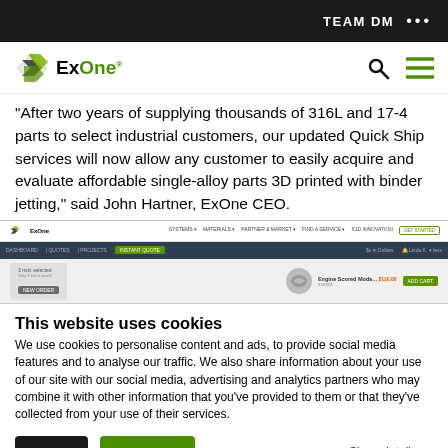TEAM DM ...
[Figure (logo): ExOne company logo with stylized X graphic]
"After two years of supplying thousands of 316L and 17-4 parts to select industrial customers, our updated Quick Ship services will now allow any customer to easily acquire and evaluate affordable single-alloy parts 3D printed with binder jetting," said John Hartner, ExOne CEO.
[Figure (screenshot): Screenshot of ExOne Quick Ship web portal showing dashboard with navigation tabs and a product listing for Engine Scored Mode...]
This website uses cookies
We use cookies to personalise content and ads, to provide social media features and to analyse our traffic. We also share information about your use of our site with our social media, advertising and analytics partners who may combine it with other information that you've provided to them or that they've collected from your use of their services.
Deny  Allow all  Show details